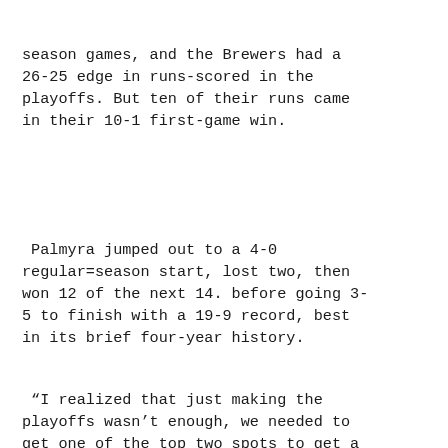season games, and the Brewers had a 26-25 edge in runs-scored in the playoffs. But ten of their runs came in their 10-1 first-game win.
Palmyra jumped out to a 4-0 regular=season start, lost two, then won 12 of the next 14. before going 3-5 to finish with a 19-9 record, best in its brief four-year history.
“I realized that just making the playoffs wasn’t enough, we needed to get one of the top two spots to get a bye to save the pitching going into the second and third rounds,” Snyder said. “You don’t want to have already used your top guys to get to the next round and then not have anyone to go